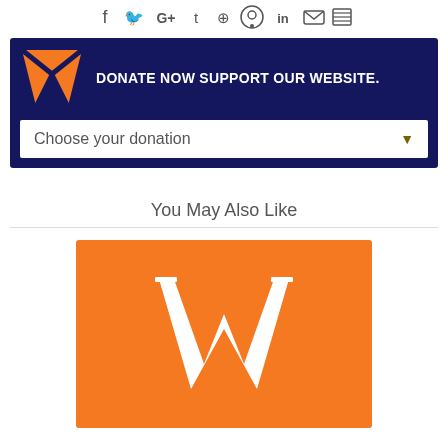[Figure (infographic): Row of social media icons: Facebook, Twitter, Google+, Tumblr, Pinterest, Reddit, LinkedIn, Email, RSS]
[Figure (infographic): Donation banner with dark navy background, orange W logo on left, white text 'DONATE NOW SUPPORT OUR WEBSITE.' and a white dropdown labeled 'Choose your donation' with orange arrow]
You May Also Like
[Figure (logo): Orange square background with white stylized W logo in the center]